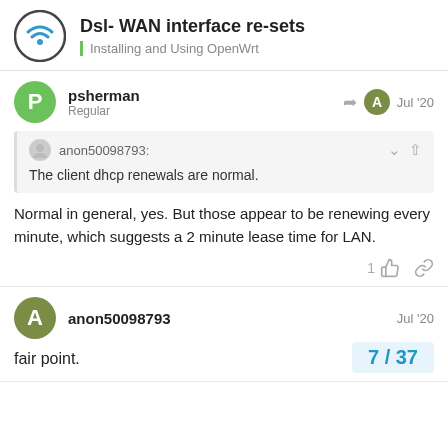Dsl- WAN interface re-sets | Installing and Using OpenWrt
psherman Regular — Jul '20
anon50098793: The client dhcp renewals are normal.
Normal in general, yes. But those appear to be renewing every minute, which suggests a 2 minute lease time for LAN.
anon50098793 — Jul '20
fair point.
7 / 37